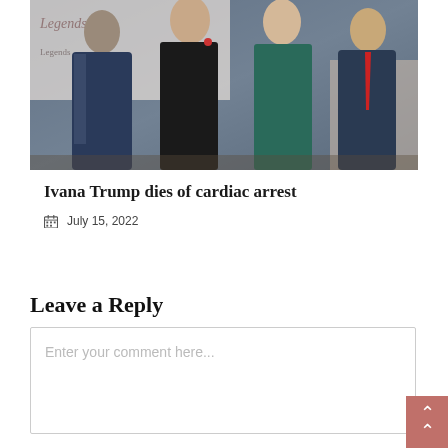[Figure (photo): Group photo of four people at a formal event, in front of a backdrop with text 'Legends'. Two men in suits and two women, one in a black dress and one in a teal dress.]
Ivana Trump dies of cardiac arrest
July 15, 2022
Leave a Reply
Enter your comment here...